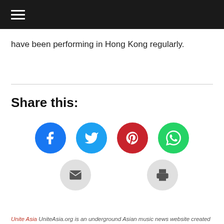≡ (navigation menu bar)
have been performing in Hong Kong regularly.
Share this:
[Figure (infographic): Social share buttons: Facebook (blue circle), Twitter (cyan circle), Pinterest (red circle), WhatsApp (green circle), Email (grey circle), Print (grey circle)]
Unite Asia UniteAsia.org is an underground Asian music news website created for the sole purpose of supporting our own world. We support all bands and genres HOWEVER we do not support nor have any sympathy for homophobic, racist, sexist rhetoric in lyrical content or band material. UNITE ASIA!